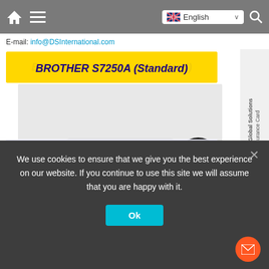Navigation bar with home icon, menu icon, English language selector, and search icon
E-mail: info@DSInternational.com
[Figure (photo): Brother S7250A (Standard) industrial sewing machine. Yellow banner at top reads 'BROTHER S7250A (Standard)'. Machine shown fully assembled with stand, white body, digital display, and black motor. Text below machine: 'Fully Assembled: Stand/Top/Light & Drawer. Single Needle Direct Drive Straight Lockstitch w/Thread Trimmer. 110V, Digital Feed. Head & Control Box (Med Spec). * 110V – $1,685.00 +Tax&Shipping * 220V – $1,565.00 +Tax&Shipping'. DSI logo and phone number +1 (270) 887 - 5066 at bottom.]
We use cookies to ensure that we give you the best experience on our website. If you continue to use this site we will assume that you are happy with it.